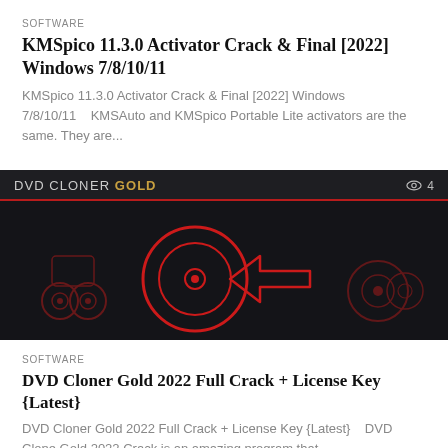SOFTWARE
KMSpico 11.3.0 Activator Crack & Final [2022] Windows 7/8/10/11
KMSpico 11.3.0 Activator Crack & Final [2022] Windows 7/8/10/11    KMSAuto and KMSpico Portable Lite activators are the same. They are...
[Figure (screenshot): DVD Cloner Gold software UI screenshot showing dark themed interface with red divider line and red circular DVD clone graphics on dark background. Top bar shows 'DVD CLONER GOLD' logo with eye icon and '4' view count.]
SOFTWARE
DVD Cloner Gold 2022 Full Crack + License Key {Latest}
DVD Cloner Gold 2022 Full Crack + License Key {Latest}    DVD Clone Gold 2022 Crack is an amazing program that...